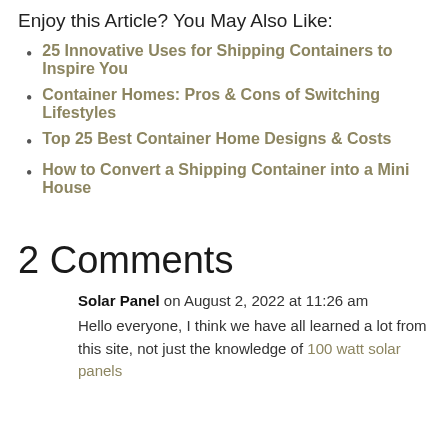Enjoy this Article? You May Also Like:
25 Innovative Uses for Shipping Containers to Inspire You
Container Homes: Pros & Cons of Switching Lifestyles
Top 25 Best Container Home Designs & Costs
How to Convert a Shipping Container into a Mini House
2 Comments
Solar Panel on August 2, 2022 at 11:26 am
Hello everyone, I think we have all learned a lot from this site, not just the knowledge of 100 watt solar panels